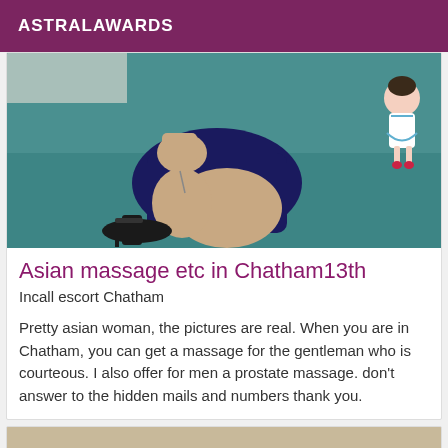ASTRALAWARDS
[Figure (photo): Photo of a person sitting on a teal/turquoise floor wearing a dark navy blue short dress and black high heels with ankle strap. A small cartoon doll figure is visible in the top right corner.]
Asian massage etc in Chatham13th
Incall escort Chatham
Pretty asian woman, the pictures are real. When you are in Chatham, you can get a massage for the gentleman who is courteous. I also offer for men a prostate massage. don't answer to the hidden mails and numbers thank you.
[Figure (photo): Partial photo with beige/tan background, cropped at bottom of page.]